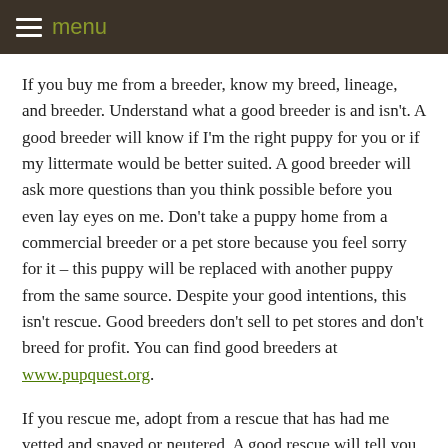menu
If you buy me from a breeder, know my breed, lineage, and breeder. Understand what a good breeder is and isn't. A good breeder will know if I'm the right puppy for you or if my littermate would be better suited. A good breeder will ask more questions than you think possible before you even lay eyes on me. Don't take a puppy home from a commercial breeder or a pet store because you feel sorry for it – this puppy will be replaced with another puppy from the same source. Despite your good intentions, this isn't rescue. Good breeders don't sell to pet stores and don't breed for profit. You can find good breeders at www.pupquest.org.
If you rescue me, adopt from a rescue that has had me vetted and spayed or neutered. A good rescue will tell you everything they know about me and will ask you lots and lots of questions. Don't be offended if the process takes a couple